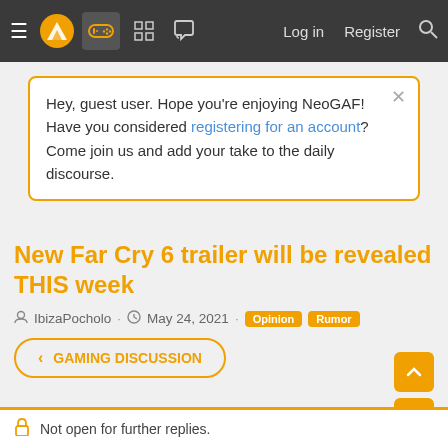NeoGAF navigation bar with logo, icons, Log in, Register, Search
Hey, guest user. Hope you're enjoying NeoGAF! Have you considered registering for an account? Come join us and add your take to the daily discourse.
New Far Cry 6 trailer will be revealed THIS week
IbizaPocholo · May 24, 2021 · Opinion Rumor
< GAMING DISCUSSION
Not open for further replies.